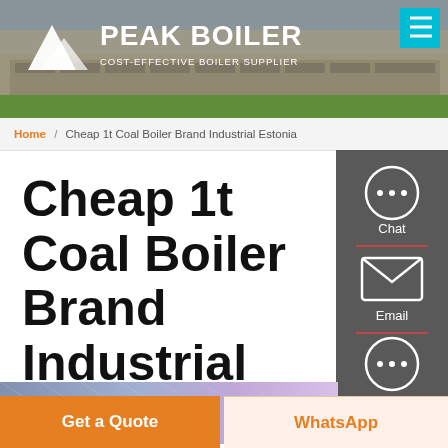[Figure (screenshot): Peak Boiler website header with logo, brand name 'PEAK BOILER', tagline 'COST-EFFECTIVE BOILER SUPPLIER', factory building background image, teal menu button top right]
Home / Cheap 1t Coal Boiler Brand Industrial Estonia
Cheap 1t Coal Boiler Brand Industrial Estonia
[Figure (screenshot): Right sidebar panel with chat, email, and contact icons on dark grey background]
[Figure (photo): Industrial boiler facility interior with steel structure and purple/blue lighting]
Get a Quote
WhatsApp